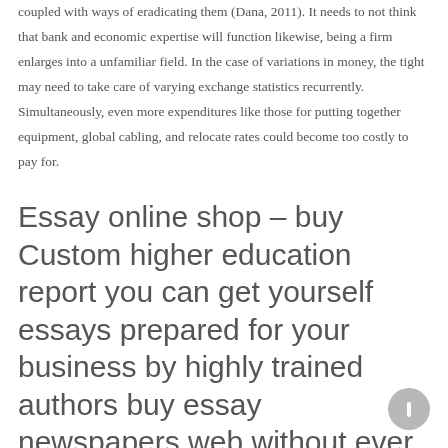coupled with ways of eradicating them (Dana, 2011). It needs to not think that bank and economic expertise will function likewise, being a firm enlarges into a unfamiliar field. In the case of variations in money, the tight may need to take care of varying exchange statistics recurrently. Simultaneously, even more expenditures like those for putting together equipment, global cabling, and relocate rates could become too costly to pay for.
Essay online shop – buy Custom higher education report you can get yourself essays prepared for your business by highly trained authors buy essay newspapers web without ever gaps in resources